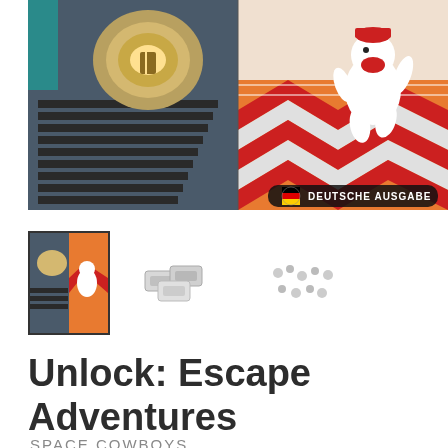[Figure (photo): Product main image showing a split scene: left side has a sci-fi futuristic interior with stairs and a rounded structure; right side has an illustrated cartoon character running on a colorful maze-like floor. Bottom right shows a German flag and text 'DEUTSCHE AUSGABE'.]
[Figure (photo): Thumbnail 1 (selected/bordered): small version of the main product image showing game box cover art]
[Figure (photo): Thumbnail 2: photo of small game components/tokens]
[Figure (photo): Thumbnail 3: photo of small game pieces/tokens scattered]
Unlock: Escape Adventures
SPACE COWBOYS